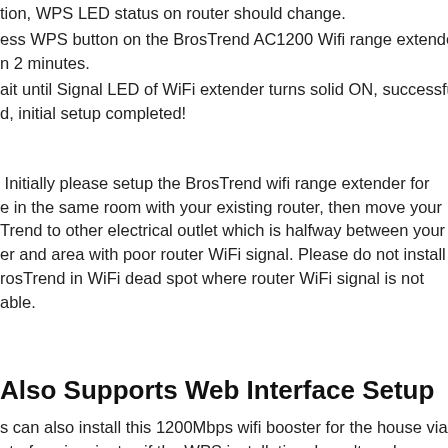tion, WPS LED status on router should change.
ess WPS button on the BrosTrend AC1200 Wifi range extender n 2 minutes.
ait until Signal LED of WiFi extender turns solid ON, successfully d, initial setup completed!
Initially please setup the BrosTrend wifi range extender for e in the same room with your existing router, then move your Trend to other electrical outlet which is halfway between your er and area with poor router WiFi signal. Please do not install rosTrend in WiFi dead spot where router WiFi signal is not able.
Also Supports Web Interface Setup
s can also install this 1200Mbps wifi booster for the house via nterface in minutes if the WPS installation doesn't work.